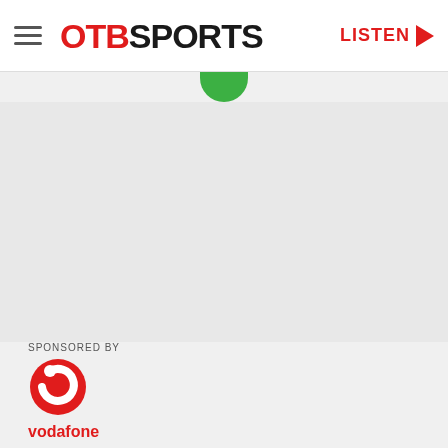OTB SPORTS   LISTEN
[Figure (logo): Vodafone red circle logo with white cutout arc]
SPONSORED BY
vodafone
Ireland have had a difficult start to their Six Nation's campaign, however, the emergence of Sam Monaghan is a real bright spark for Greg McWilliams, according to Brian O'Driscoll.
Monaghan featured in Fiona Hayes' Team of the Week on the